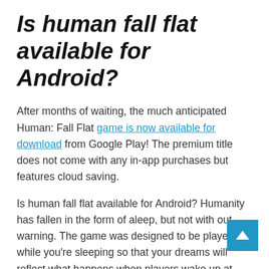Is human fall flat available for Android?
After months of waiting, the much anticipated Human: Fall Flat game is now available for download from Google Play! The premium title does not come with any in-app purchases but features cloud saving.
Is human fall flat available for Android? Humanity has fallen in the form of aleep, but not with out warning. The game was designed to be played while you're sleeping so that your dreams will reflect what happens when players wake up at various points during their adventures – whether they've made it through an entire level or just begun playing!